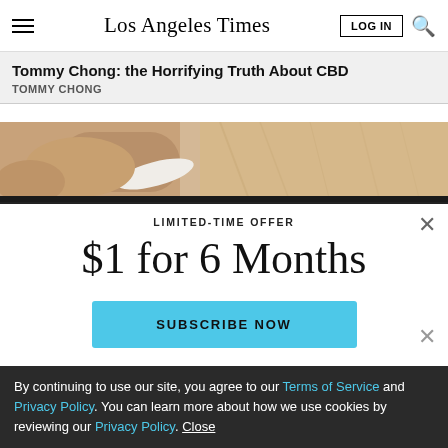Los Angeles Times
Tommy Chong: the Horrifying Truth About CBD
TOMMY CHONG
[Figure (photo): Close-up photo of hands on a light wood surface, partially visible]
LIMITED-TIME OFFER
$1 for 6 Months
SUBSCRIBE NOW
By continuing to use our site, you agree to our Terms of Service and Privacy Policy. You can learn more about how we use cookies by reviewing our Privacy Policy. Close